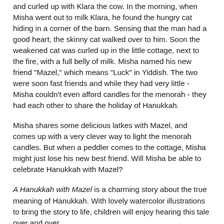and curled up with Klara the cow. In the morning, when Misha went out to milk Klara, he found the hungry cat hiding in a corner of the barn. Sensing that the man had a good heart, the skinny cat walked over to him. Soon the weakened cat was curled up in the little cottage, next to the fire, with a full belly of milk. Misha named his new friend "Mazel," which means "Luck" in Yiddish. The two were soon fast friends and while they had very little - Misha couldn't even afford candles for the menorah - they had each other to share the holiday of Hanukkah.
Misha shares some delicious latkes with Mazel, and comes up with a very clever way to light the menorah candles. But when a peddler comes to the cottage, Misha might just lose his new best friend. Will Misha be able to celebrate Hanukkah with Mazel?
A Hanukkah with Mazel is a charming story about the true meaning of Hanukkah. With lovely watercolor illustrations to bring the story to life, children will enjoy hearing this tale over and over.